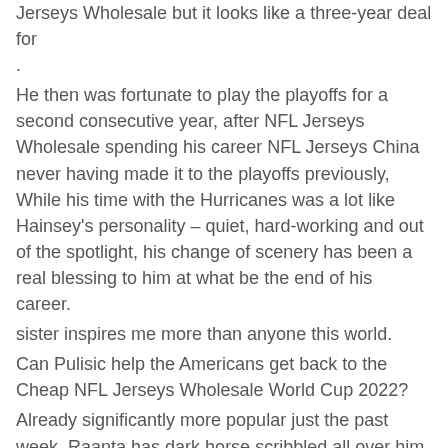Jerseys Wholesale but it looks like a three-year deal for .
He then was fortunate to play the playoffs for a second consecutive year, after NFL Jerseys Wholesale spending his career NFL Jerseys China never having made it to the playoffs previously, While his time with the Hurricanes was a lot like Hainsey's personality – quiet, hard-working and out of the spotlight, his change of scenery has been a real blessing to him at what be the end of his career.
sister inspires me more than anyone this world.
Can Pulisic help the Americans get back to the Cheap NFL Jerseys Wholesale World Cup 2022?
Already significantly more popular just the past week, Raanta has dark horse scribbled all over him ahead of 2018.
He spent most of the year the D-League, and saw several 10 Day Contract players play over him as the Jerseys From China year went along.